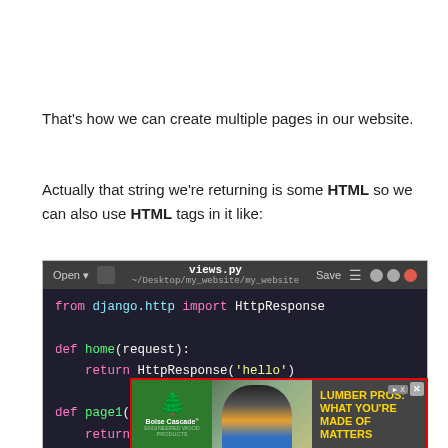That's how we can create multiple pages in our website.
Actually that string we're returning is some HTML so we can also use HTML tags in it like:
[Figure (screenshot): Code editor screenshot showing views.py file with Django code: from django.http import HttpResponse, def home(request): return HttpResponse('hello'), def page1(request):]
[Figure (photo): Boise Cascade advertisement overlay showing a construction worker with text 'LUMBER PROS: WHAT YOU'RE MADE OF MATTERS']